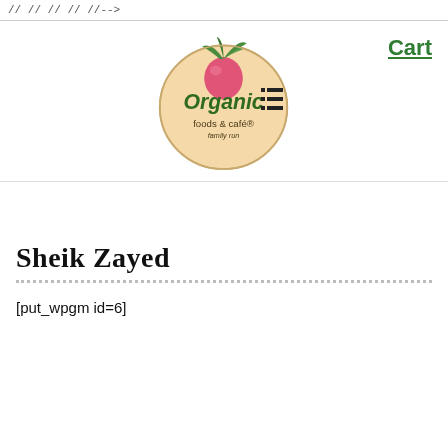// // // // //-->
[Figure (logo): Organic Foods & Cafe logo — circular badge with a radish illustration, green text reading 'Organic', and subtitle 'foods & cafe family run']
Cart
[Figure (other): Hamburger menu icon (three horizontal lines with a list indicator)]
Sheik Zayed
[put_wpgm id=6]